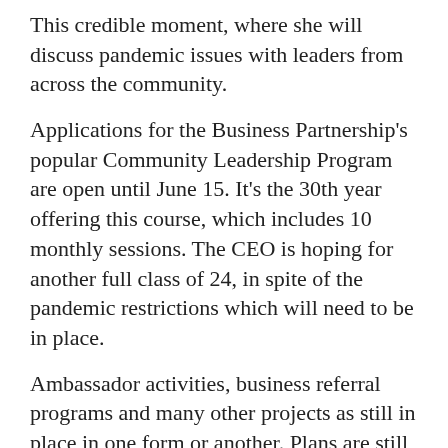This credible moment, where she will discuss pandemic issues with leaders from across the community.
Applications for the Business Partnership’s popular Community Leadership Program are open until June 15. It’s the 30th year offering this course, which includes 10 monthly sessions. The CEO is hoping for another full class of 24, in spite of the pandemic restrictions which will need to be in place.
Ambassador activities, business referral programs and many other projects as still in place in one form or another. Plans are still underway to expand the gift card program county-wide, along with a revitalized shop-local campaign.
Bottom line? The former Chamber plans to survive and help its members do the same.
“This massive strain on business impacts our